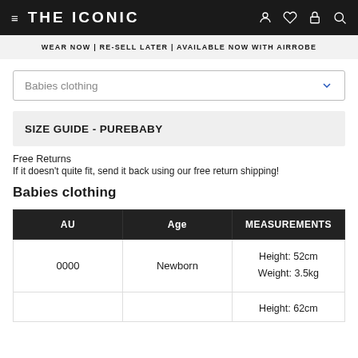THE ICONIC
WEAR NOW | RE-SELL LATER | AVAILABLE NOW WITH AIRROBE
Babies clothing
SIZE GUIDE - PUREBABY
Free Returns
If it doesn't quite fit, send it back using our free return shipping!
Babies clothing
| AU | Age | MEASUREMENTS |
| --- | --- | --- |
| 0000 | Newborn | Height: 52cm
Weight: 3.5kg |
| 000 | 0-3 MTHS | Height: 62cm |